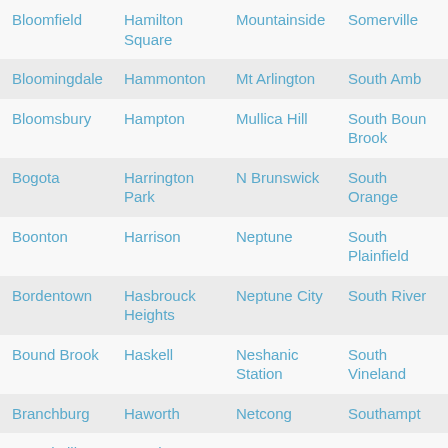| Bloomfield | Hamilton Square | Mountainside | Somerville |
| Bloomingdale | Hammonton | Mt Arlington | South Amb |
| Bloomsbury | Hampton | Mullica Hill | South Boun Brook |
| Bogota | Harrington Park | N Brunswick | South Orange |
| Boonton | Harrison | Neptune | South Plainfield |
| Bordentown | Hasbrouck Heights | Neptune City | South River |
| Bound Brook | Haskell | Neshanic Station | South Vineland |
| Branchburg | Haworth | Netcong | Southampt |
| Branchville | Hawthorne | New | Sparta |